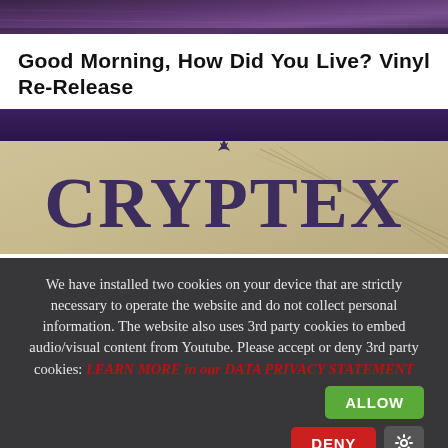[Figure (photo): Top strip of a dark purple/blue photo, possibly a band or event image]
Good Morning, How Did You Live? Vinyl Re-Release
[Figure (photo): Album artwork showing the word CRYPTEX in large decorative serif letters on a parchment-style background with guitar strings visible]
We have installed two cookies on your device that are strictly necessary to operate the website and do not collect personal information. The website also uses 3rd party cookies to embed audio/visual content from Youtube. Please accept or deny 3rd party cookies: LEARN MORE in our DATA PRIVACY STATEMENT
ALLOW
DENY